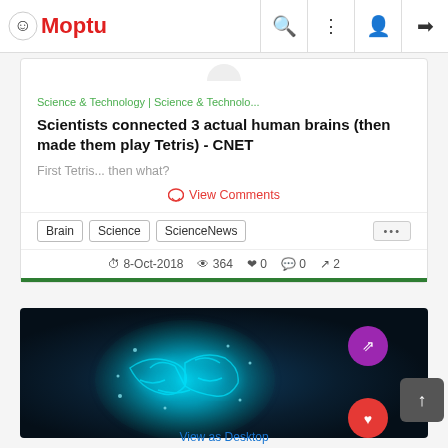Moptu
Science & Technology | Science & Technolo...
Scientists connected 3 actual human brains (then made them play Tetris) - CNET
First Tetris... then what?
View Comments
Brain
Science
ScienceNews
8-Oct-2018  364  0  0  2
[Figure (photo): Glowing blue digital brain illustration on dark background with purple share button and red heart button overlay]